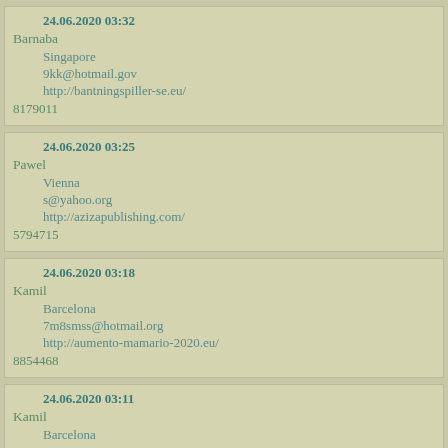24.06.2020 03:32
Barnaba
Singapore
9kk@hotmail.gov
http://bantningspiller-se.eu/
8179011
24.06.2020 03:25
Pawel
Vienna
s@yahoo.org
http://azizapublishing.com/
5794715
24.06.2020 03:18
Kamil
Barcelona
7m8smss@hotmail.org
http://aumento-mamario-2020.eu/
8854468
24.06.2020 03:11
Kamil
Barcelona